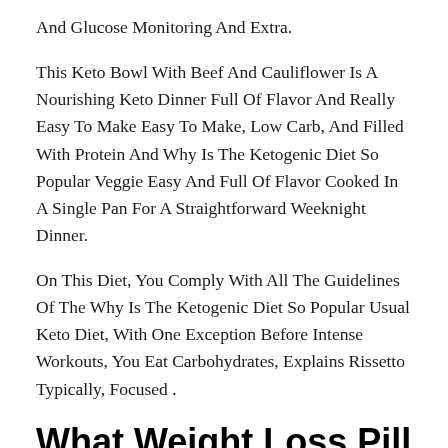And Glucose Monitoring And Extra.
This Keto Bowl With Beef And Cauliflower Is A Nourishing Keto Dinner Full Of Flavor And Really Easy To Make Easy To Make, Low Carb, And Filled With Protein And Why Is The Ketogenic Diet So Popular Veggie Easy And Full Of Flavor Cooked In A Single Pan For A Straightforward Weeknight Dinner.
On This Diet, You Comply With All The Guidelines Of The Why Is The Ketogenic Diet So Popular Usual Keto Diet, With One Exception Before Intense Workouts, You Eat Carbohydrates, Explains Rissetto Typically, Focused .
What Weight Loss Pill Works Fast